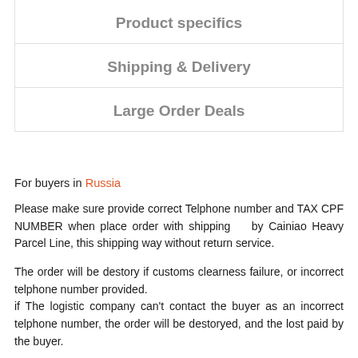Product specifics
Shipping & Delivery
Large Order Deals
For buyers in Russia
Please make sure provide correct Telphone number and TAX CPF NUMBER when place order with shipping   by Cainiao Heavy Parcel Line, this shipping way without return service.
The order will be destory if customs clearness failure, or incorrect telphone number provided.
if The logistic company can't contact the buyer as an incorrect telphone number, the order will be destoryed, and the lost paid by the buyer.